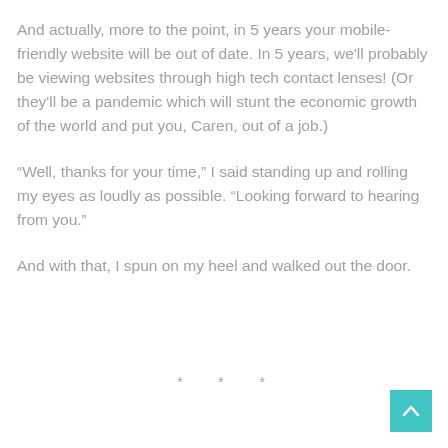And actually, more to the point, in 5 years your mobile-friendly website will be out of date. In 5 years, we'll probably be viewing websites through high tech contact lenses! (Or they'll be a pandemic which will stunt the economic growth of the world and put you, Caren, out of a job.)
“Well, thanks for your time,” I said standing up and rolling my eyes as loudly as possible. “Looking forward to hearing from you.”
And with that, I spun on my heel and walked out the door.
* * *